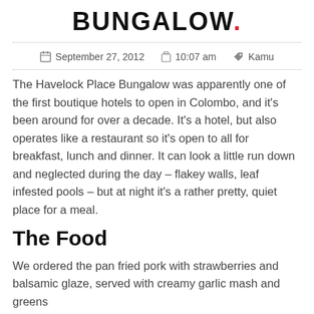BUNGALOW.
September 27, 2012   10:07 am   Kamu
The Havelock Place Bungalow was apparently one of the first boutique hotels to open in Colombo, and it's been around for over a decade. It's a hotel, but also operates like a restaurant so it's open to all for breakfast, lunch and dinner. It can look a little run down and neglected during the day – flakey walls, leaf infested pools – but at night it's a rather pretty, quiet place for a meal.
The Food
We ordered the pan fried pork with strawberries and balsamic glaze, served with creamy garlic mash and greens (for 575). It is the most...